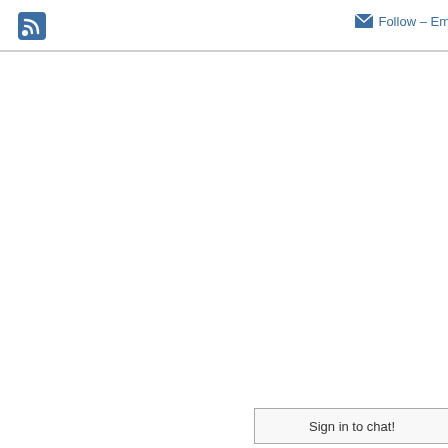RSS icon | Follow – Email
Sign in to chat!